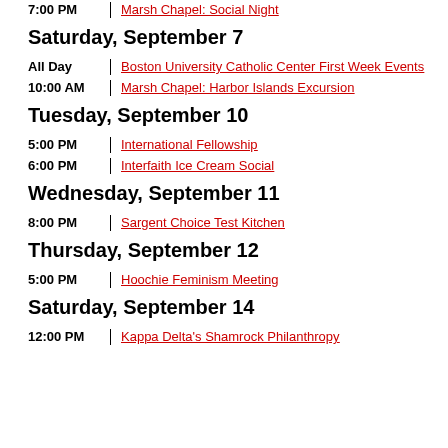7:00 PM | Marsh Chapel: Social Night
Saturday, September 7
All Day | Boston University Catholic Center First Week Events
10:00 AM | Marsh Chapel: Harbor Islands Excursion
Tuesday, September 10
5:00 PM | International Fellowship
6:00 PM | Interfaith Ice Cream Social
Wednesday, September 11
8:00 PM | Sargent Choice Test Kitchen
Thursday, September 12
5:00 PM | Hoochie Feminism Meeting
Saturday, September 14
12:00 PM | Kappa Delta's Shamrock Philanthropy